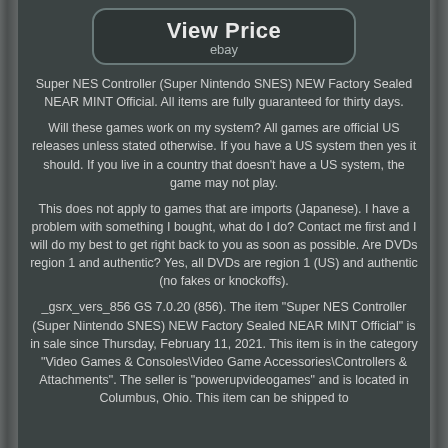[Figure (other): View Price button with eBay label, rounded rectangle button style]
Super NES Controller (Super Nintendo SNES) NEW Factory Sealed NEAR MINT Official. All items are fully guaranteed for thirty days.
Will these games work on my system? All games are official US releases unless stated otherwise. If you have a US system then yes it should. If you live in a country that doesn't have a US system, the game may not play.
This does not apply to games that are imports (Japanese). I have a problem with something I bought, what do I do? Contact me first and I will do my best to get right back to you as soon as possible. Are DVDs region 1 and authentic? Yes, all DVDs are region 1 (US) and authentic (no fakes or knockoffs).
_gsrx_vers_856 GS 7.0.20 (856). The item "Super NES Controller (Super Nintendo SNES) NEW Factory Sealed NEAR MINT Official" is in sale since Thursday, February 11, 2021. This item is in the category "Video Games & Consoles\Video Game Accessories\Controllers & Attachments". The seller is "powerupvideogames" and is located in Columbus, Ohio. This item can be shipped to